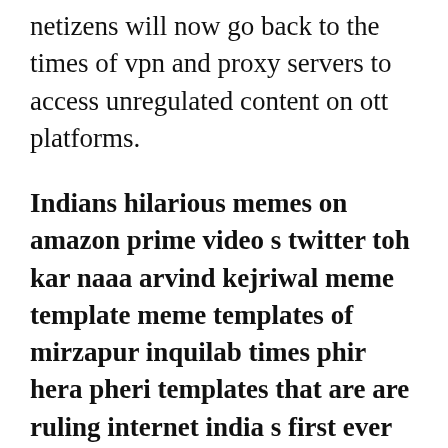netizens will now go back to the times of vpn and proxy servers to access unregulated content on ott platforms.
Indians hilarious memes on amazon prime video s twitter toh kar naaa arvind kejriwal meme template meme templates of mirzapur inquilab times phir hera pheri templates that are are ruling internet india s first ever meme fest is happening in delhi details